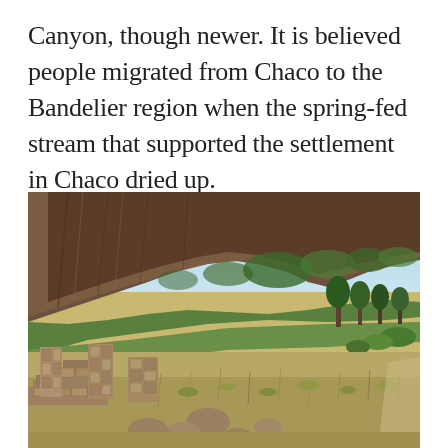Canyon, though newer. It is believed people migrated from Chaco to the Bandelier region when the spring-fed stream that supported the settlement in Chaco dried up.
[Figure (photo): Outdoor photograph showing ancient stone ruins in the foreground with low walls of stacked rocks, surrounded by dry grass and shrubs, with a steep rocky cliff face and canyon wall in the background under a blue sky with scattered trees and green vegetation on the hillside.]